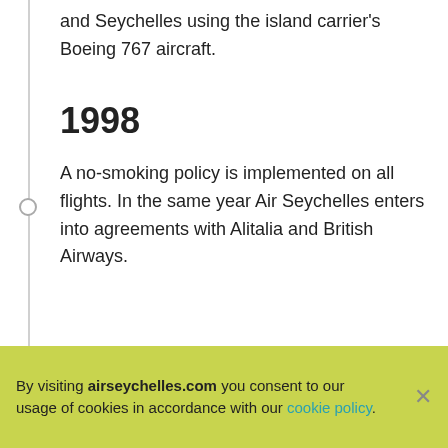and Seychelles using the island carrier's Boeing 767 aircraft.
1998
A no-smoking policy is implemented on all flights. In the same year Air Seychelles enters into agreements with Alitalia and British Airways.
[Figure (photo): Air Seychelles aircraft tails visible at an airport with green forested hills and sky in the background.]
By visiting airseychelles.com you consent to our usage of cookies in accordance with our cookie policy.